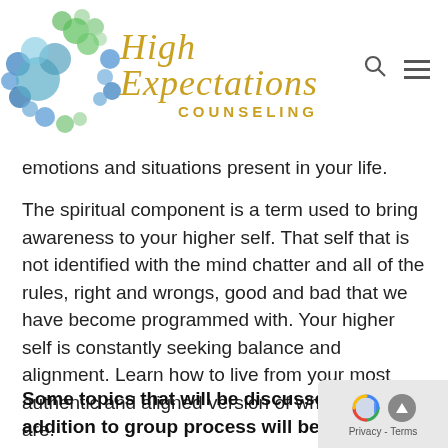High Expectations Counseling
emotions and situations present in your life.
The spiritual component is a term used to bring awareness to your higher self. That self that is not identified with the mind chatter and all of the rules, right and wrongs, good and bad that we have become programmed with. Your higher self is constantly seeking balance and alignment. Learn how to live from your most authentic and aligned version of who you really are.
Some topics that will be discussed in addition to group process will be the